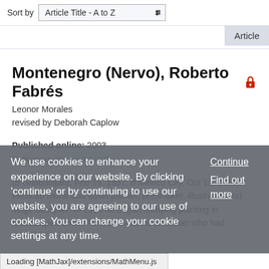Sort by  Article Title - A to Z
Article
Montenegro (Nervo), Roberto Fabrés 🔒
Leonor Morales
revised by Deborah Caplow
Published online: 2003
Collection: Grove Art Online
(b Guadalajara, Feb 19, 1887; d Mexico City, Oct 13, 1968). Mexican mural and easel painter, printmaker, illustrator, and stage designer. In 1903 he began studying painting in Guadalajara under Félix Bernardelli, an Italian who had
We use cookies to enhance your experience on our website. By clicking 'continue' or by continuing to use our website, you are agreeing to our use of cookies. You can change your cookie settings at any time.
Continue
Find out more
Loading [MathJax]/extensions/MathMenu.js